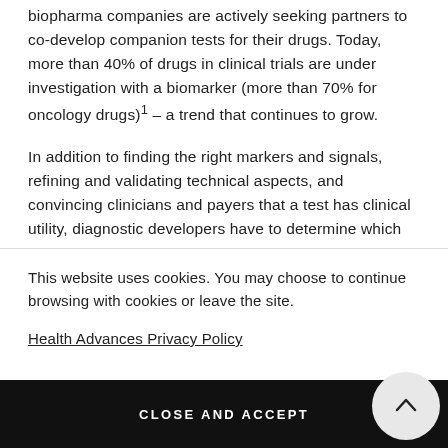biopharma companies are actively seeking partners to co-develop companion tests for their drugs. Today, more than 40% of drugs in clinical trials are under investigation with a biomarker (more than 70% for oncology drugs)¹ – a trend that continues to grow.
In addition to finding the right markers and signals, refining and validating technical aspects, and convincing clinicians and payers that a test has clinical utility, diagnostic developers have to determine which
This website uses cookies. You may choose to continue browsing with cookies or leave the site.
Health Advances Privacy Policy
CLOSE AND ACCEPT